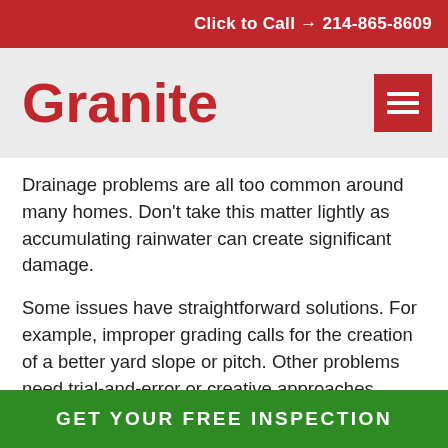Click to Call → 214-865-8609
Granite
Drainage problems are all too common around many homes. Don't take this matter lightly as accumulating rainwater can create significant damage.
Some issues have straightforward solutions. For example, improper grading calls for the creation of a better yard slope or pitch. Other problems need trial-and-error or creative approaches. Residing at the bottom of a hill or facing issues after pool installation may require extensive work. Perhaps the problem is caused by an uphill neighbor overwatering.
GET YOUR FREE INSPECTION